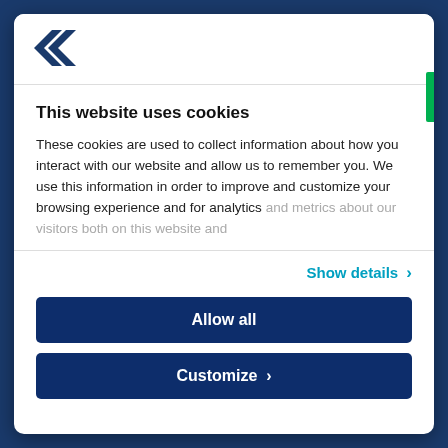[Figure (logo): Blue arrow/chevron logo mark in top left of modal dialog]
This website uses cookies
These cookies are used to collect information about how you interact with our website and allow us to remember you. We use this information in order to improve and customize your browsing experience and for analytics and metrics about our visitors both on this website and
Show details >
Allow all
Customize >